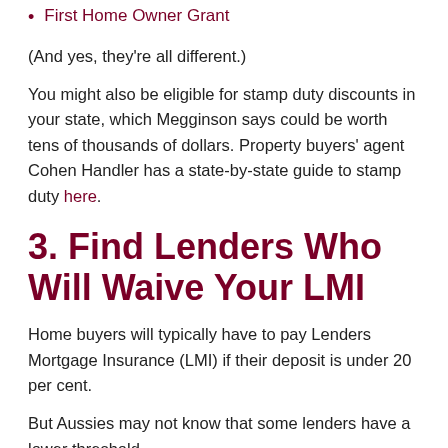First Home Owner Grant
(And yes, they're all different.)
You might also be eligible for stamp duty discounts in your state, which Megginson says could be worth tens of thousands of dollars. Property buyers' agent Cohen Handler has a state-by-state guide to stamp duty here.
3. Find Lenders Who Will Waive Your LMI
Home buyers will typically have to pay Lenders Mortgage Insurance (LMI) if their deposit is under 20 per cent.
But Aussies may not know that some lenders have a lower threshold.
“A handful of lenders will waive lenders mortgage insurance costs if you have a 15 per cent deposit, including St George, Bank of Melbourne, BankSA and